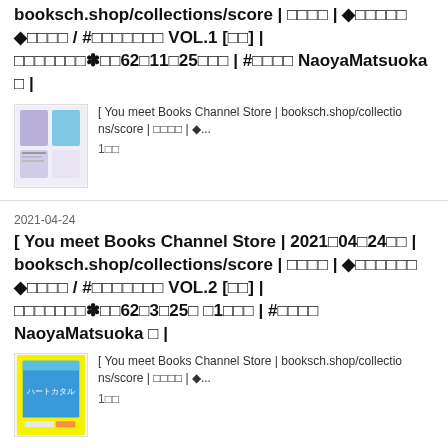booksch.shop/collections/score | □□□□ | ◆□□□□□ ◆□□□□ / #□□□□□□□ VOL.1 [□□] | □□□□□□□✽□□62□11□25□□□ | #□□□□ NaoyaMatsuoka □ |
[Figure (illustration): Thumbnail image of book/score product 1]
[ You meet Books Channel Store | booksch.shop/collections/score | □□□□ | ◆...
1□□
2021-04-24
[ You meet Books Channel Store | 2021□04□24□□ | booksch.shop/collections/score | □□□□ | ◆□□□□□□ ◆□□□□ / #□□□□□□□ VOL.2 [□□] | □□□□□□□✽□□62□3□25□ □1□□□ | #□□□□ NaoyaMatsuoka □ |
[Figure (illustration): Thumbnail image of book/score product 2 with yellow border and blue image]
[ You meet Books Channel Store | booksch.shop/collections/score | □□□□ | ◆...
1□□
2021-04-24
[ You meet Books Channel Store | 2021□04□24□□ |